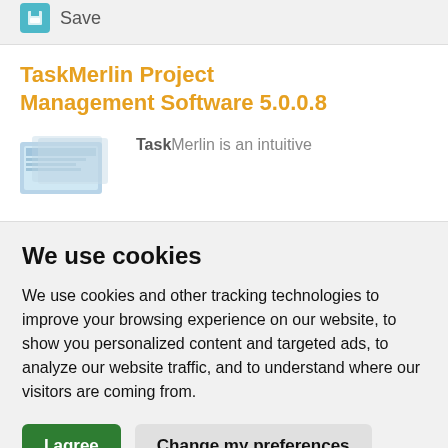[Figure (screenshot): Save button with teal icon and 'Save' text label]
TaskMerlin Project Management Software 5.0.0.8
[Figure (screenshot): Product box image for TaskMerlin software]
TaskMerlin is an intuitive
We use cookies
We use cookies and other tracking technologies to improve your browsing experience on our website, to show you personalized content and targeted ads, to analyze our website traffic, and to understand where our visitors are coming from.
I agree  Change my preferences